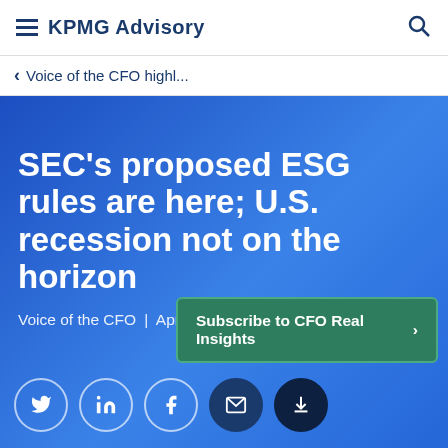KPMG Advisory
Voice of the CFO highl...
SEC's proposed ESG rules are here; U.S. recession not on the horizon
Voice of the CFO | April 2022
Subscribe to CFO Real Insights >